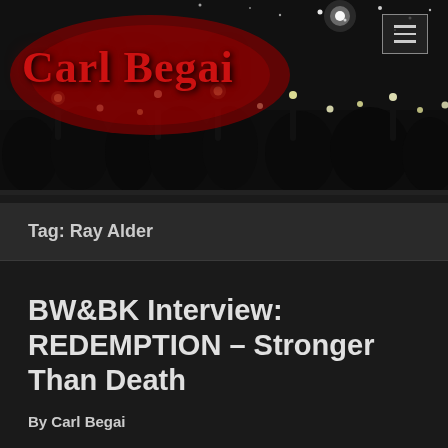[Figure (photo): Dark concert/crowd scene at night with silhouettes of people holding up lit phones/lights against a dark sky with many small lights. Red glow background behind 'Carl Begai' text logo.]
Carl Begai
Tag: Ray Alder
BW&BK Interview: REDEMPTION – Stronger Than Death
By Carl Begai